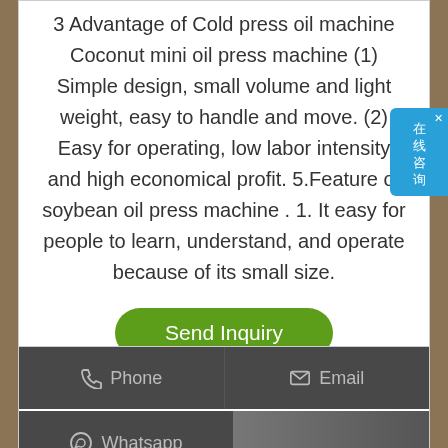3 Advantage of Cold press oil machine Coconut mini oil press machine (1) Simple design, small volume and light weight, easy to handle and move. (2) Easy for operating, low labor intensity and high economical profit. 5.Feature of soybean oil press machine . 1. It easy for people to learn, understand, and operate because of its small size.
[Figure (other): Green 'Send Inquiry' button]
[Figure (other): Blue chat widget with Chinese text '在线咨询' (Online Consultation) and a close X button]
[Figure (other): Contact buttons section with Phone, Email, and Whatsapp options on dark gray background, and a partial product photo strip]